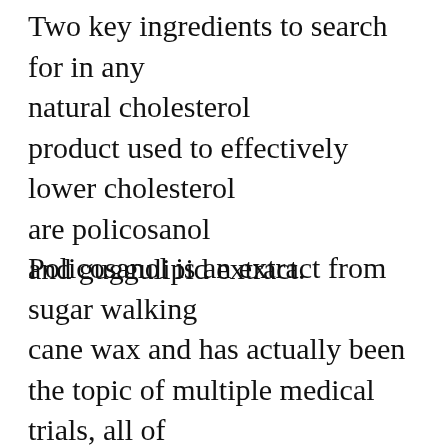Two key ingredients to search for in any natural cholesterol product used to effectively lower cholesterol are policosanol and guggulipid extract.
Policosanol is an extract from sugar walking cane wax and has actually been the topic of multiple medical trials, all of which have surpassed the statins.